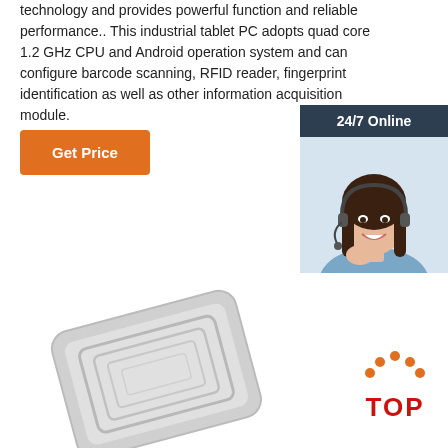technology and provides powerful function and reliable performance.. This industrial tablet PC adopts quad core 1.2 GHz CPU and Android operation system and can configure barcode scanning, RFID reader, fingerprint identification as well as other information acquisition module.
Get Price
[Figure (infographic): 24/7 Online customer support chat box with photo of smiling woman wearing headset, 'Click here for free chat!' text, and QUOTATION orange button]
[Figure (photo): Industrial RFID tablet device shown at an angle with concentric rectangular antenna pattern on surface]
[Figure (logo): TOP logo with orange dots arranged in an arch above bold red TOP text]